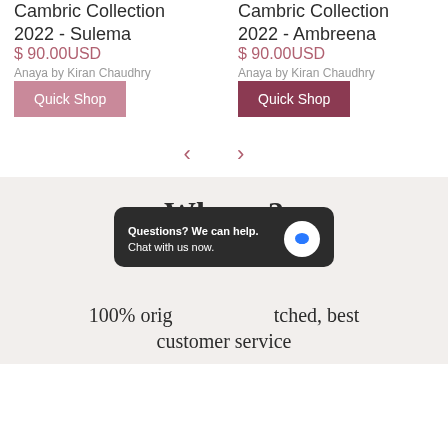Cambric Collection 2022 - Sulema
$ 90.00USD
Anaya by Kiran Chaudhry
Quick Shop
Cambric Collection 2022 - Ambreena
$ 90.00USD
Anaya by Kiran Chaudhry
Quick Shop
< >
Why us?
100% orig... tched, best customer service
Questions? We can help. Chat with us now.